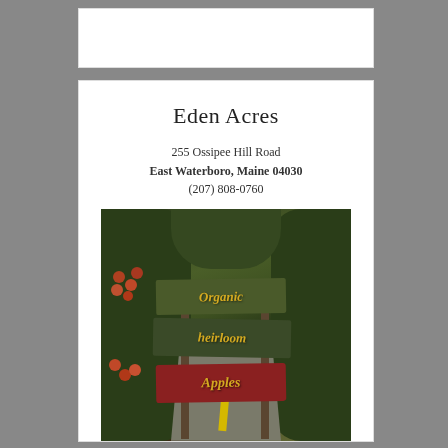Eden Acres
255 Ossipee Hill Road
East Waterboro, Maine 04030
(207) 808-0760
[Figure (photo): Wooden roadside signs reading 'Organic', 'heirloom', and 'Apples' hanging on posts along a rural tree-lined road in Maine]